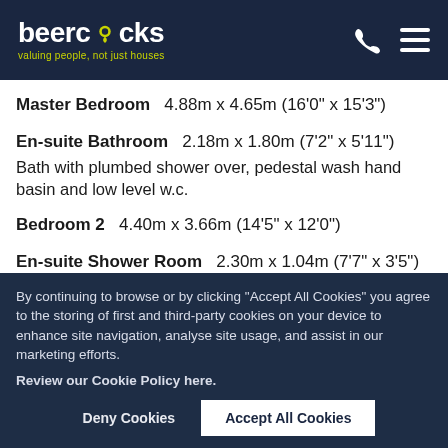beercocks — valuing people, not just houses
Master Bedroom  4.88m x 4.65m (16'0" x 15'3")
En-suite Bathroom  2.18m x 1.80m (7'2" x 5'11")
Bath with plumbed shower over, pedestal wash hand basin and low level w.c.
Bedroom 2  4.40m x 3.66m (14'5" x 12'0")
En-suite Shower Room  2.30m x 1.04m (7'7" x 3'5")
By continuing to browse or by clicking "Accept All Cookies" you agree to the storing of first and third-party cookies on your device to enhance site navigation, analyse site usage, and assist in our marketing efforts.
Review our Cookie Policy here.
Deny Cookies
Accept All Cookies